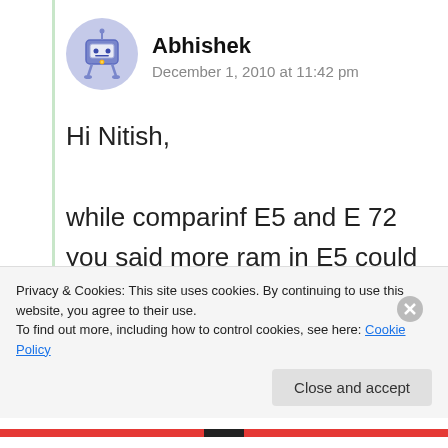[Figure (illustration): Avatar/profile icon: cartoon robot-like character on light blue-grey circular background]
Abhishek
December 1, 2010 at 11:42 pm
Hi Nitish,
while comparinf E5 and E 72 you said more ram in E5 could be because of integration of Social services in contacts and home screen widgets in e5. Does this mean that E 72 does not have
Privacy & Cookies: This site uses cookies. By continuing to use this website, you agree to their use.
To find out more, including how to control cookies, see here: Cookie Policy